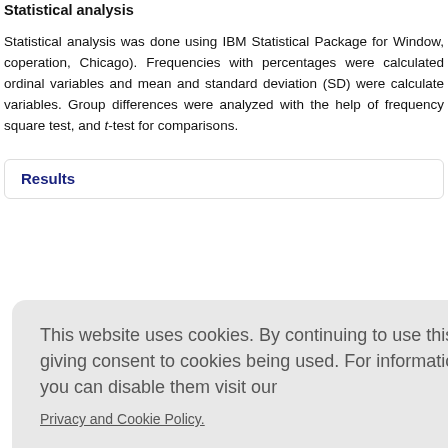Statistical analysis
Statistical analysis was done using IBM Statistical Package for Windows, coperation, Chicago). Frequencies with percentages were calculated ordinal variables and mean and standard deviation (SD) were calculated variables. Group differences were analyzed with the help of frequency square test, and t-test for comparisons.
Results
healthy ob ny obese h 358, df = 7 3, P = 0.047 ard deviati groups
This website uses cookies. By continuing to use this website you are giving consent to cookies being used. For information on cookies and how you can disable them visit our Privacy and Cookie Policy. AGREE & PROCEED